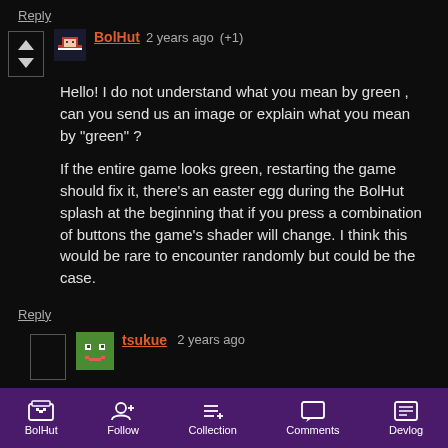Reply
BolHut 2 years ago (+1)
Hello! I do not understand what you mean by green , can you send us an image or explain what you mean by "green" ?

If the entire game looks green, restarting the game should fix it, there's an easter egg during the BolHut splash at the beginning that if you press a combination of buttons the game's shader will change. I think this would be rare to encounter randomly but could be the case.
Reply
tsukue 2 years ago
BolHut   Follow   Collection   Comments   Devlog